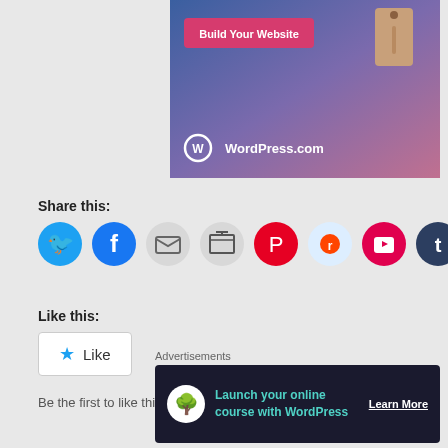[Figure (screenshot): WordPress.com advertisement banner with 'Build Your Website' button, price tag graphic, and WordPress.com logo on blue-purple-pink gradient background]
Share this:
[Figure (infographic): Row of social share icon buttons: Twitter (blue), Facebook (blue), Email (gray), Print (gray), Pinterest (red), Reddit (light blue), Pocket (red), Tumblr (dark navy)]
Like this:
[Figure (screenshot): Like button widget with blue star icon and 'Like' text in a white rounded rectangle box]
Be the first to like this.
Advertisements
[Figure (screenshot): Advertisements banner: dark background with white circle tree icon, teal text 'Launch your online course with WordPress', and 'Learn More' button in white]